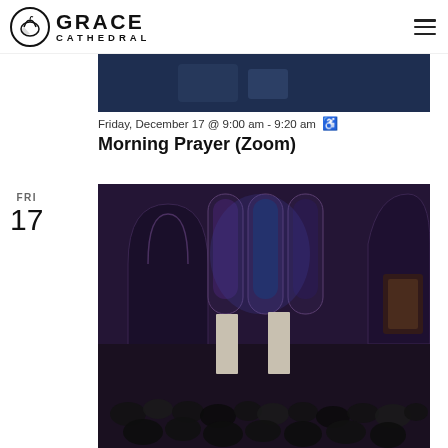Grace Cathedral
[Figure (photo): Dark blue background image, partial view, top portion of a scene]
Friday, December 17 @ 9:00 am - 9:20 am ↻
Morning Prayer (Zoom)
FRI
17
[Figure (photo): Interior of Grace Cathedral showing gothic arches, stained glass windows with purple/blue lighting, and a large choral/orchestral performance in progress with audience seated]